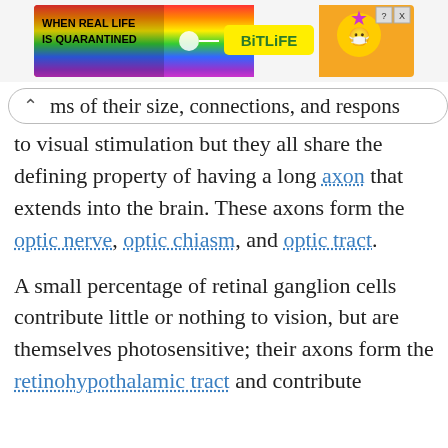[Figure (screenshot): Advertisement banner for BitLife game showing rainbow background with text 'WHEN REAL LIFE IS QUARANTINED' and BitLife logo]
ms of their size, connections, and respons to visual stimulation but they all share the defining property of having a long axon that extends into the brain. These axons form the optic nerve, optic chiasm, and optic tract.
A small percentage of retinal ganglion cells contribute little or nothing to vision, but are themselves photosensitive; their axons form the retinohypothalamic tract and contribute